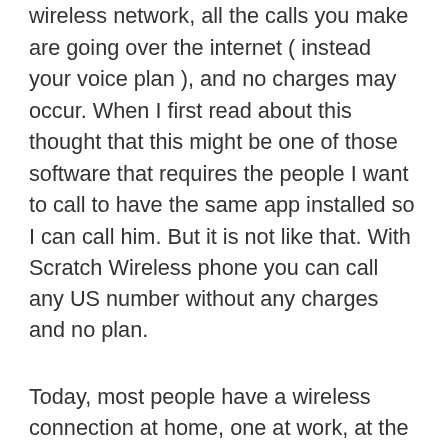wireless network, all the calls you make are going over the internet ( instead your voice plan ), and no charges may occur. When I first read about this thought that this might be one of those software that requires the people I want to call to have the same app installed so I can call him. But it is not like that. With Scratch Wireless phone you can call any US number without any charges and no plan.
Today, most people have a wireless connection at home, one at work, at the coffee shop, restaurant, hotel. Wireless is present almost everywhere. In most countries, wireless is offered for free in malls or markets. Why do you have to pay for voice plan when you have wireless everywhere ? On average, Scratch Wireless users are connected to a wireless network 84% of time. I live in a small city, but our local Internet